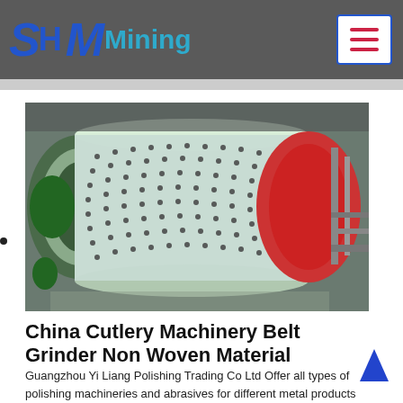SH MMining
[Figure (photo): Large industrial ball mill or grinding cylinder with studded surface, green and red metal ends, photographed in a factory/industrial setting.]
China Cutlery Machinery Belt Grinder Non Woven Material
Guangzhou Yi Liang Polishing Trading Co Ltd Offer all types of polishing machineries and abrasives for different metal products